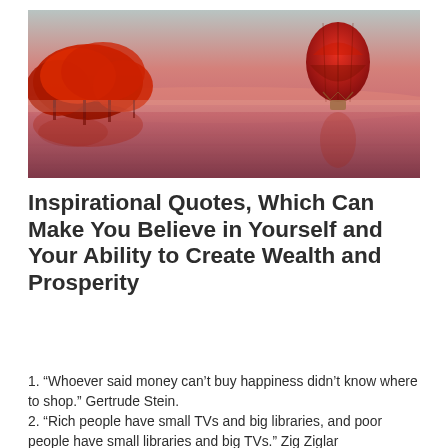[Figure (photo): A scenic photo showing a red hot air balloon floating over a calm reflective lake at sunset/dusk with red-leafed trees on the left side and a pink-orange sky. The trees and balloon are reflected in the still water below.]
Inspirational Quotes, Which Can Make You Believe in Yourself and Your Ability to Create Wealth and Prosperity
1. “Whoever said money can’t buy happiness didn’t know where to shop.” Gertrude Stein.
2. “Rich people have small TVs and big libraries, and poor people have small libraries and big TVs.” Zig Ziglar
3. “What lies behind you and what lies in front of you, pales in comparison to what lies inside of you.” Ralph Waldo Emerson